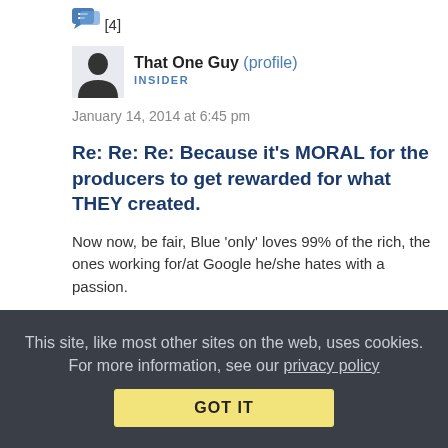[Figure (illustration): Speech bubble icon with [4] comment count]
[Figure (illustration): User silhouette avatar icon]
That One Guy (profile)
INSIDER
January 14, 2014 at 6:45 pm
Re: Re: Re: Because it's MORAL for the producers to get rewarded for what THEY created.
Now now, be fair, Blue ‘only’ loves 99% of the rich, the ones working for/at Google he/she hates with a passion.
Reply | View in chronology
This site, like most other sites on the web, uses cookies. For more information, see our privacy policy
GOT IT